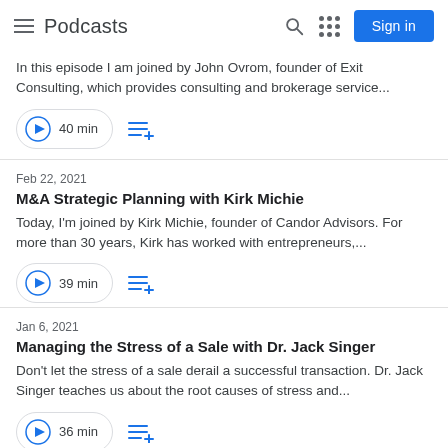Podcasts
In this episode I am joined by John Ovrom, founder of Exit Consulting, which provides consulting and brokerage service...
40 min
Feb 22, 2021
M&A Strategic Planning with Kirk Michie
Today, I'm joined by Kirk Michie, founder of Candor Advisors. For more than 30 years, Kirk has worked with entrepreneurs,...
39 min
Jan 6, 2021
Managing the Stress of a Sale with Dr. Jack Singer
Don't let the stress of a sale derail a successful transaction. Dr. Jack Singer teaches us about the root causes of stress and...
36 min